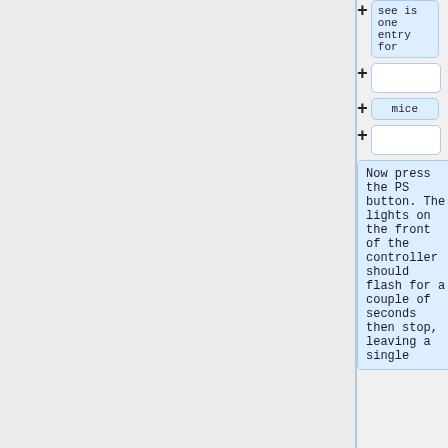see is one
entry for
mice
Now press the PS button. The lights on the front of the controller should flash for a couple of seconds then stop, leaving a single